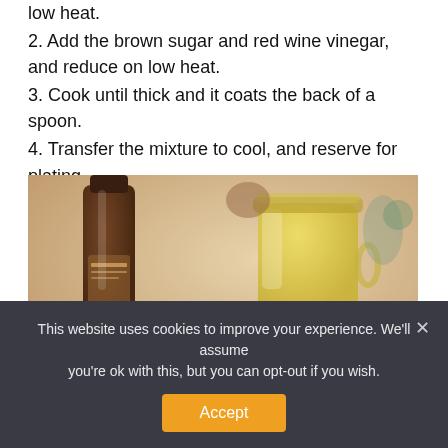low heat.
2. Add the brown sugar and red wine vinegar, and reduce on low heat.
3. Cook until thick and it coats the back of a spoon.
4. Transfer the mixture to cool, and reserve for plating.
[Figure (photo): Overhead view of a table setting with a dark bottle of vinegar on the left and a glass container of yellow liquid (oil or sauce) on the right, with a fork and knife visible, on a warm-toned wooden surface.]
This website uses cookies to improve your experience. We'll assume you're ok with this, but you can opt-out if you wish.